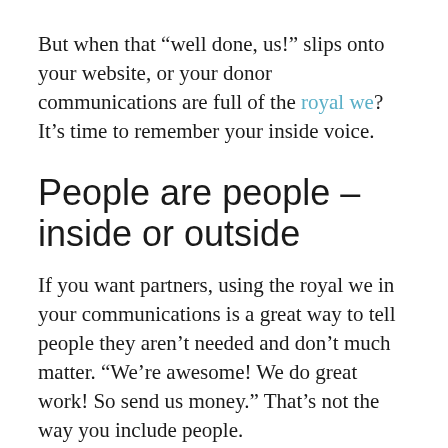But when that “well done, us!” slips onto your website, or your donor communications are full of the royal we? It’s time to remember your inside voice.
People are people – inside or outside
If you want partners, using the royal we in your communications is a great way to tell people they aren’t needed and don’t much matter. “We’re awesome! We do great work! So send us money.” That’s not the way you include people.